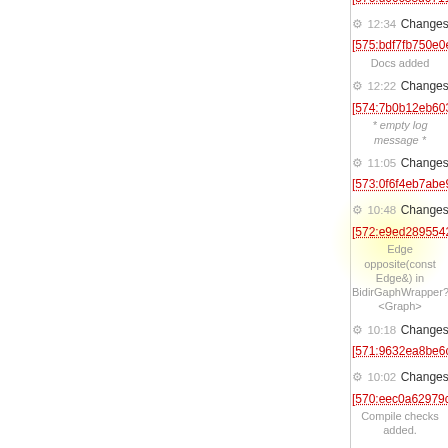[576:d00c33d07114] by marci
12:34 Changeset in lemon-0.x [575:bdf7fb750e0e] by jacint
Docs added
12:22 Changeset in lemon-0.x [574:7b0b12eb603b] by Alpar Juttner
* empty log message *
11:05 Changeset in lemon-0.x [573:0f6f4eb7abe9] by marci
10:48 Changeset in lemon-0.x [572:e9ed28955421] by marci
Edge opposite(const Edge&) in BidirGaphWrapper?<Graph>
10:18 Changeset in lemon-0.x [571:9632ea8be6ca] by Balazs Dezso
10:02 Changeset in lemon-0.x [570:eec0a62979c9] by Alpar Juttner
Compile checks added.
09:44 Changeset in lemon-0.x [569:3b6afd33c221] by marci
BidirGraphWrapper?<Graph>, the